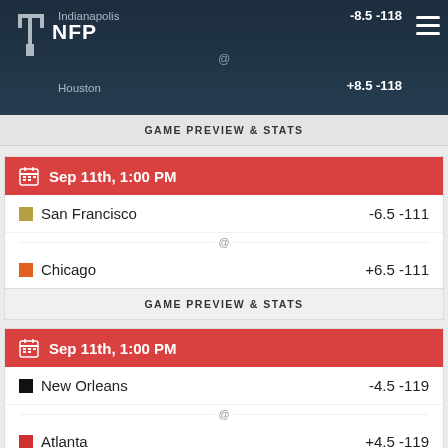Indianapolis @ Houston  -8.5 -118 / +8.5 -118  NFP
GAME PREVIEW & STATS
Sep 11th, 1:00 PM
San Francisco  -6.5 -111
@
Chicago  +6.5 -111
GAME PREVIEW & STATS
Sep 11th, 1:00 PM
New Orleans  -4.5 -119
@
Atlanta  +4.5 -119
GAME PREVIEW & STATS